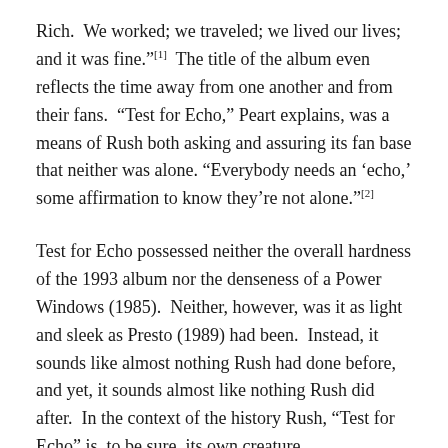Rich.  We worked; we traveled; we lived our lives; and it was fine."[1]  The title of the album even reflects the time away from one another and from their fans.  "Test for Echo," Peart explains, was a means of Rush both asking and assuring its fan base that neither was alone. "Everybody needs an ‘echo,’ some affirmation to know they’re not alone."[2]
Test for Echo possessed neither the overall hardness of the 1993 album nor the denseness of a Power Windows (1985).  Neither, however, was it as light and sleek as Presto (1989) had been.  Instead, it sounds like almost nothing Rush had done before, and yet, it sounds almost like nothing Rush did after.  In the context of the history Rush, “Test for Echo” is, to be sure, its own creature.